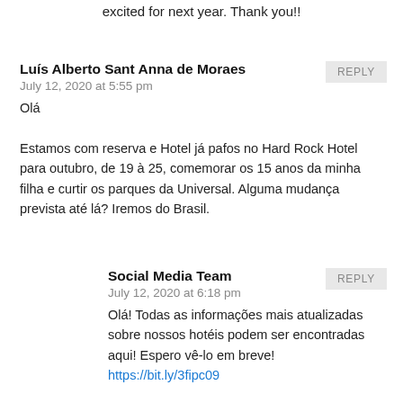excited for next year. Thank you!!
Luís Alberto Sant Anna de Moraes
July 12, 2020 at 5:55 pm
Olá
Estamos com reserva e Hotel já pafos no Hard Rock Hotel para outubro, de 19 à 25, comemorar os 15 anos da minha filha e curtir os parques da Universal. Alguma mudança prevista até lá? Iremos do Brasil.
REPLY
Social Media Team
July 12, 2020 at 6:18 pm
Olá! Todas as informações mais atualizadas sobre nossos hotéis podem ser encontradas aqui! Espero vê-lo em breve! https://bit.ly/3fipc09
REPLY